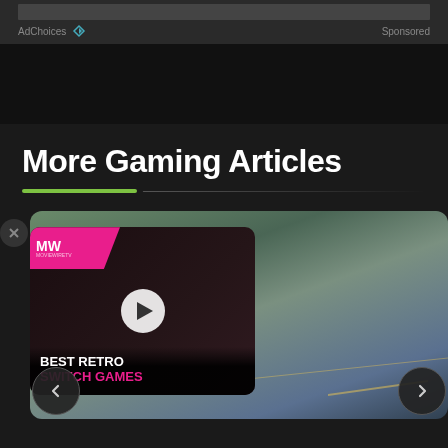AdChoices  Sponsored
More Gaming Articles
[Figure (screenshot): Gaming article carousel showing two cards: left card with MW logo overlay, play button, and 'BEST RETRO SWITCH GAMES' text; right card showing a monster/creature on a road scene. Navigation arrows on left and right.]